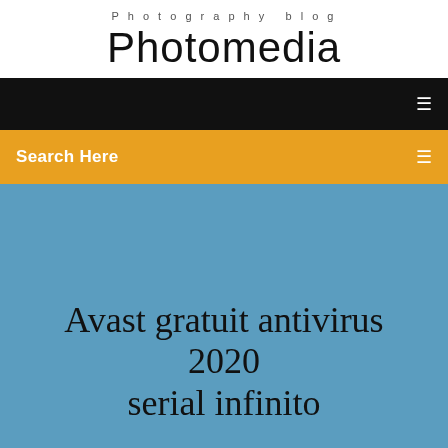Photography blog
Photomedia
[Figure (screenshot): Black navigation bar with white menu icon on the right]
[Figure (screenshot): Yellow/orange search bar with 'Search Here' text and search icon on the right]
Avast gratuit antivirus 2020 serial infinito